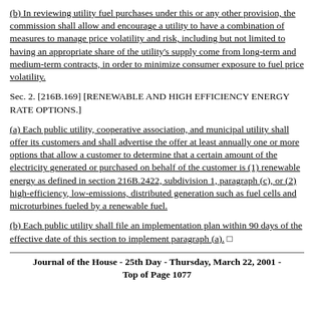(b) In reviewing utility fuel purchases under this or any other provision, the commission shall allow and encourage a utility to have a combination of measures to manage price volatility and risk, including but not limited to having an appropriate share of the utility's supply come from long-term and medium-term contracts, in order to minimize consumer exposure to fuel price volatility.
Sec. 2. [216B.169] [RENEWABLE AND HIGH EFFICIENCY ENERGY RATE OPTIONS.]
(a) Each public utility, cooperative association, and municipal utility shall offer its customers and shall advertise the offer at least annually one or more options that allow a customer to determine that a certain amount of the electricity generated or purchased on behalf of the customer is (1) renewable energy as defined in section 216B.2422, subdivision 1, paragraph (c), or (2) high-efficiency, low-emissions, distributed generation such as fuel cells and microturbines fueled by a renewable fuel.
(b) Each public utility shall file an implementation plan within 90 days of the effective date of this section to implement paragraph (a). □
Journal of the House - 25th Day - Thursday, March 22, 2001 - Top of Page 1077